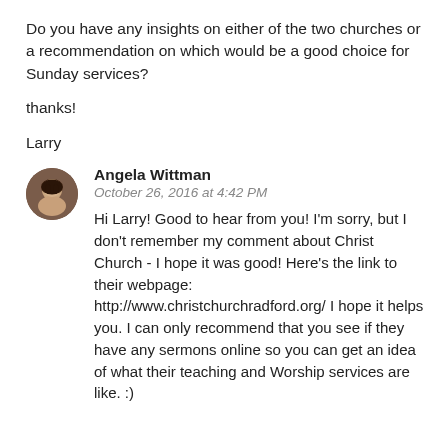Do you have any insights on either of the two churches or a recommendation on which would be a good choice for Sunday services?
thanks!
Larry
Angela Wittman
October 26, 2016 at 4:42 PM
Hi Larry! Good to hear from you! I'm sorry, but I don't remember my comment about Christ Church - I hope it was good! Here's the link to their webpage: http://www.christchurchradford.org/ I hope it helps you. I can only recommend that you see if they have any sermons online so you can get an idea of what their teaching and Worship services are like. :)